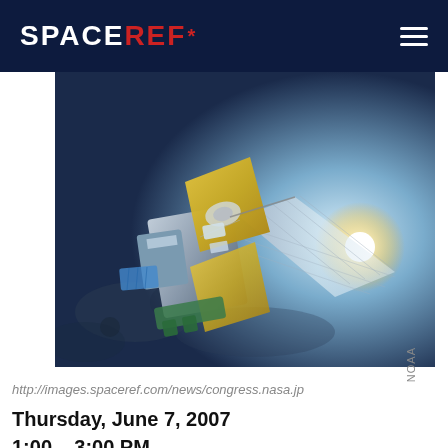SPACEREF*
[Figure (photo): Artist rendering of a satellite (NOAA) in orbit, with gold solar panels and a bright solar flare in the background against a dark space/lunar surface backdrop. Watermark: NOAA.]
http://images.spaceref.com/news/congress.nasa.jp
Thursday, June 7, 2007
1:00 – 3:00 PM